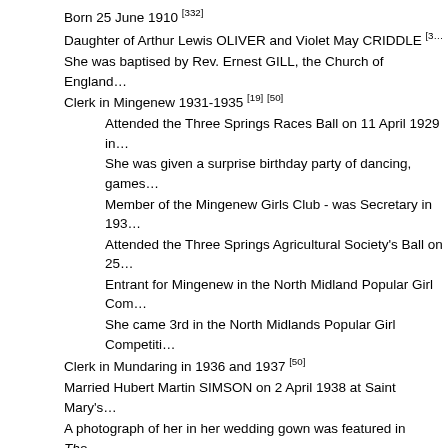Born 25 June 1910 [332]
Daughter of Arthur Lewis OLIVER and Violet May CRIDDLE [3…]
She was baptised by Rev. Ernest GILL, the Church of England… Clerk in Mingenew 1931-1935 [19] [50]
Attended the Three Springs Races Ball on 11 April 1929 in…
She was given a surprise birthday party of dancing, games…
Member of the Mingenew Girls Club - was Secretary in 193…
Attended the Three Springs Agricultural Society's Ball on 25…
Entrant for Mingenew in the North Midland Popular Girl Com…
She came 3rd in the North Midlands Popular Girl Competiti…
Clerk in Mundaring in 1936 and 1937 [50]
Married Hubert Martin SIMSON on 2 April 1938 at Saint Mary's…
A photograph of her in her wedding gown was featured in The…
Resided of late in the Perth suburb of Victoria Park [2]
Died 6 July 1991; ashes interred Karrakatta Cemetery in Perth…
Reference: Carnamah Historical Society & Museum and Nort… Coorow, Carnamah and Three Springs, retrieved 22 August 20…